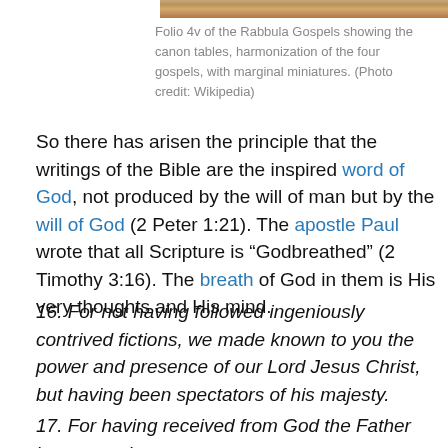[Figure (photo): Top strip of a manuscript image — Folio 4v of the Rabbula Gospels showing canon tables with marginal miniatures]
Folio 4v of the Rabbula Gospels showing the canon tables, harmonization of the four gospels, with marginal miniatures. (Photo credit: Wikipedia)
So there has arisen the principle that the writings of the Bible are the inspired word of God, not produced by the will of man but by the will of God (2 Peter 1:21). The apostle Paul wrote that all Scripture is “Godbreathed” (2 Timothy 3:16). The breath of God in them is His very thoughts and His mind.
16. For not having followed ingeniously contrived fictions, we made known to you the power and presence of our Lord Jesus Christ, but having been spectators of his majesty.
17. For having received from God the Father honour and